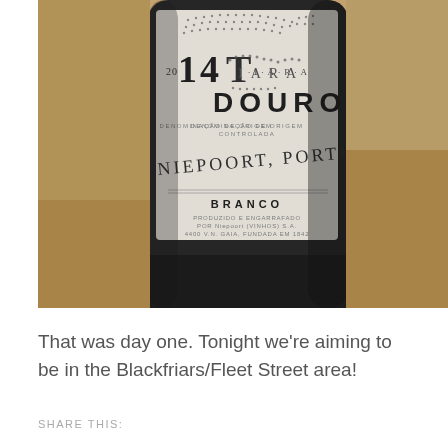[Figure (photo): Close-up photograph of a wine bottle label reading '2014 Tiara Douro, Denominação de Origem Controlada, Niepoort, Portugal, Branco'. The bottle is dark glass, set on a light surface with a glass visible in the background.]
That was day one. Tonight we're aiming to be in the Blackfriars/Fleet Street area!
SHARE THIS: